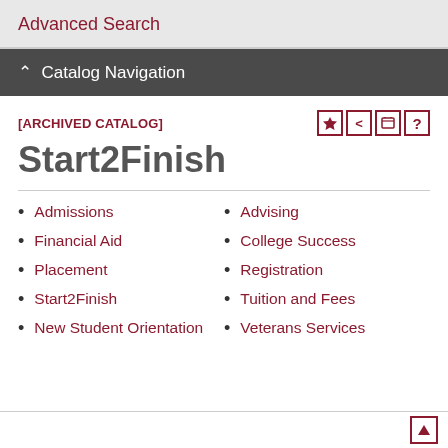Advanced Search
^ Catalog Navigation
[ARCHIVED CATALOG]
Start2Finish
Admissions
Advising
Financial Aid
College Success
Placement
Registration
Start2Finish
Tuition and Fees
New Student Orientation
Veterans Services